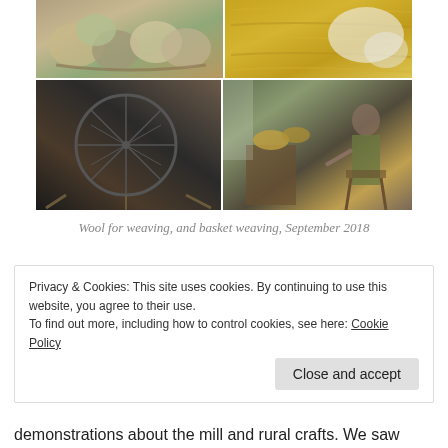[Figure (photo): Grid of four photos: top-left shows wool yarn balls in a basket, top-right shows a yellow woven textile/blanket with white fluffy material, bottom-left shows an antique wooden spinning wheel, bottom-right shows a woman seated demonstrating basket weaving with baskets on a table]
Wool for weaving, and basket weaving, September 2018
Privacy & Cookies: This site uses cookies. By continuing to use this website, you agree to their use.
To find out more, including how to control cookies, see here: Cookie Policy
[Close and accept button]
demonstrations about the mill and rural crafts. We saw